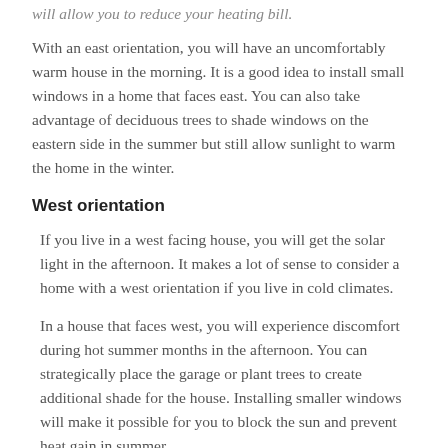will allow you to reduce your heating bill.
With an east orientation, you will have an uncomfortably warm house in the morning. It is a good idea to install small windows in a home that faces east. You can also take advantage of deciduous trees to shade windows on the eastern side in the summer but still allow sunlight to warm the home in the winter.
West orientation
If you live in a west facing house, you will get the solar light in the afternoon. It makes a lot of sense to consider a home with a west orientation if you live in cold climates.
In a house that faces west, you will experience discomfort during hot summer months in the afternoon. You can strategically place the garage or plant trees to create additional shade for the house. Installing smaller windows will make it possible for you to block the sun and prevent heat gain in summer.